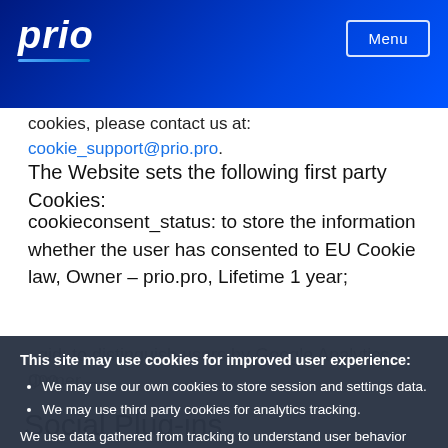prio | Menu
cookies, please contact us at: cookie_support@prio.pro.
The Website sets the following first party Cookies:
cookieconsent_status: to store the information whether the user has consented to EU Cookie law, Owner – prio.pro, Lifetime 1 year;
_gid: to distinguish users by Google Analytics, Owner – goo...
_ga: ... Owner –
_gat_gtag: to throttle request rate by Google Analytics, Owner – googl... e
Social Plug-ins
This site may use cookies for improved user experience:
• We may use our own cookies to store session and settings data.
• We may use third party cookies for analytics tracking.
We use data gathered from tracking to understand user behavior and to help us improve the website.
By using this site, you agree to the use of cookies. Please see our Privacy Policy for more information.